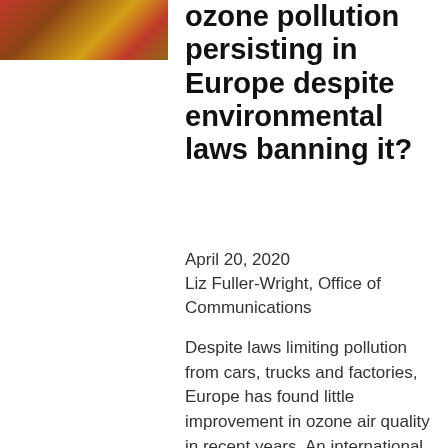[Figure (photo): Photo of a person outdoors, with warm-toned background of wheat/grass field]
ozone pollution persisting in Europe despite environmental laws banning it?
April 20, 2020
Liz Fuller-Wright, Office of Communications
Despite laws limiting pollution from cars, trucks and factories, Europe has found little improvement in ozone air quality in recent years. An international team led by Princeton's Meiyun Lin found the surprising chain of causes: As global climate change leads to more hot and dry